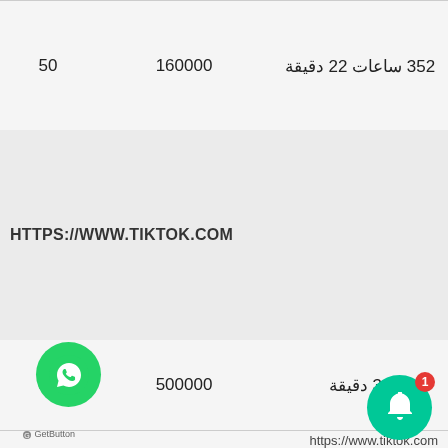| 50 | 160000 | 352 ساعات 22 دقيقة |
|  |  | HTTPS://WWW.TIKTOK.COM |
| 50 | 500000 | 31 دقيقة |
|  |  | https://www.tiktok.com |